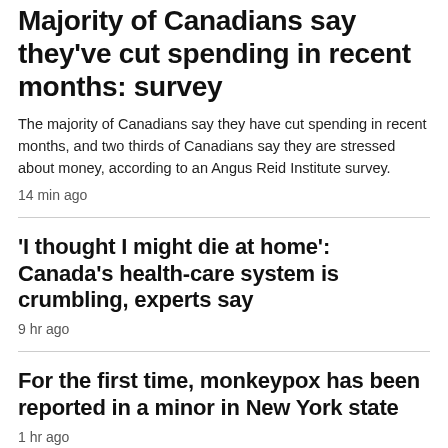Majority of Canadians say they've cut spending in recent months: survey
The majority of Canadians say they have cut spending in recent months, and two thirds of Canadians say they are stressed about money, according to an Angus Reid Institute survey.
14 min ago
'I thought I might die at home': Canada's health-care system is crumbling, experts say
9 hr ago
For the first time, monkeypox has been reported in a minor in New York state
1 hr ago
Toronto police release photos of woman